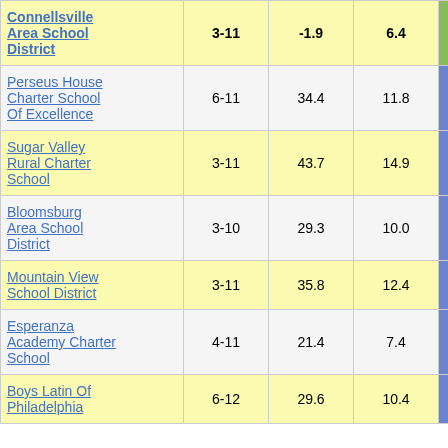| School/District | Grades | Col3 | Col4 | Score |
| --- | --- | --- | --- | --- |
| Connellsville Area School District | 3-11 | -1.9 | 6.4 | -0.29 |
| Perseus House Charter School Of Excellence | 6-11 | 34.4 | 11.8 | 2.93 |
| Sugar Valley Rural Charter School | 3-11 | 43.7 | 14.9 | 2.92 |
| Bloomsburg Area School District | 3-10 | 29.3 | 10.0 | 2.92 |
| Mountain View School District | 3-11 | 35.8 | 12.4 | 2.88 |
| Esperanza Academy Charter School | 4-11 | 21.4 | 7.4 | 2.88 |
| Boys Latin Of Philadelphia | 6-12 | 29.6 | 10.4 | 2.85 |